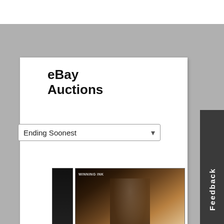eBay Auctions
Ending Soonest
[Figure (photo): Sports trading cards: top card shows basketball player with autograph (Winning Ink Gold), bottom shows two cards - left with player photo, right with Lakers Fox card]
2013-14 Panini Intrigue-Winning Ink Gold /10 Rick Fox
13-14 Panini Intrigue Winning Ink Gold
Feedback